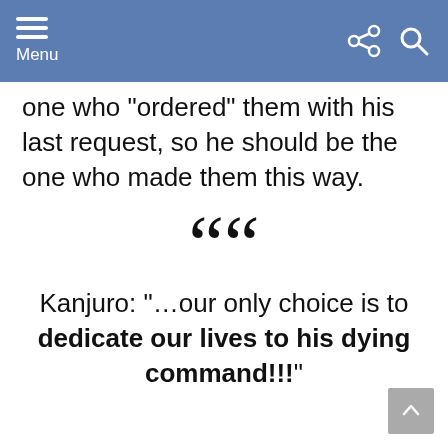Menu
one who “ordered” them with his last request, so he should be the one who made them this way.
Kanjuro: “…our only choice is to dedicate our lives to his dying command!!!”